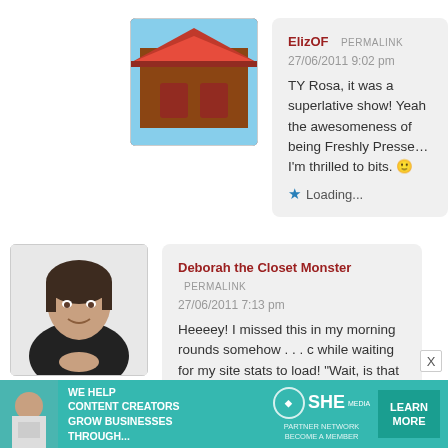[Figure (photo): Avatar image of a Japanese shrine gate (torii/temple gate) with red architecture]
ElizOF  PERMALINK
27/06/2011 9:02 pm
TY Rosa, it was a superlative show! Yeah the awesomeness of being Freshly Pressed. I'm thrilled to bits. 🙂
★ Loading...
[Figure (photo): Avatar photo of a woman with dark hair wearing a black top, holding something]
Deborah the Closet Monster  PERMALINK
27/06/2011 7:13 pm
Heeeey! I missed this in my morning rounds somehow . . . caught it while waiting for my site stats to load! "Wait, is that Elizab… sounds like it was fabulous. I'm trying to recall what my las… Probably something tiny in a club? The next show I'r
[Figure (infographic): SHE Media Partner Network advertisement banner: 'We help content creators grow businesses through...' with LEARN MORE button]